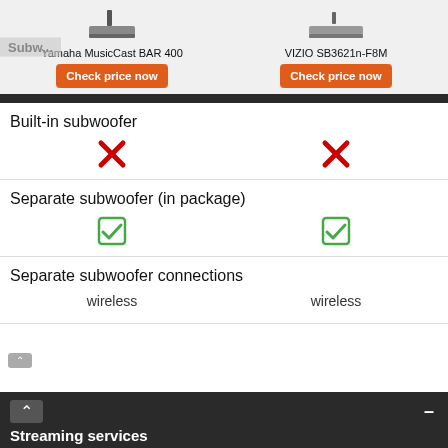Yamaha MusicCast BAR 400 | VIZIO SB3621n-F8M
Built-in subwoofer
✗ | ✗
Separate subwoofer (in package)
✓ | ✓
Separate subwoofer connections
wireless | wireless
Streaming services